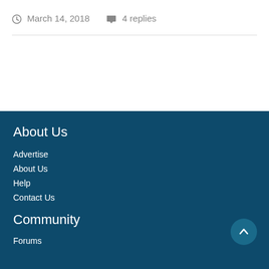March 14, 2018   4 replies
About Us
Advertise
About Us
Help
Contact Us
Community
Forums